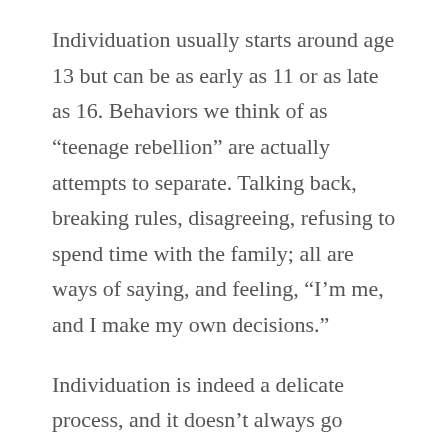Individuation usually starts around age 13 but can be as early as 11 or as late as 16. Behaviors we think of as “teenage rebellion” are actually attempts to separate. Talking back, breaking rules, disagreeing, refusing to spend time with the family; all are ways of saying, and feeling, “I’m me, and I make my own decisions.”
Individuation is indeed a delicate process, and it doesn’t always go smoothly. When it doesn’t, and also goes unresolved, it can create a stressful or painful relationship